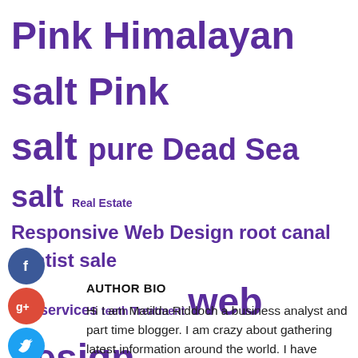Pink Himalayan salt Pink salt pure Dead Sea salt Real Estate Responsive Web Design root canal dentist sale seo services teeth Treatment web design web design company web design services website designer near me
[Figure (other): Social media icons: Facebook (blue circle with f), Google+ (red circle with g+), Twitter (blue circle with bird), Plus/share (dark circle with +)]
AUTHOR BIO
Hi I am Matilda Riddoch a business analyst and part time blogger. I am crazy about gathering latest information around the world. I have started this blog to share my knowledge & experience.